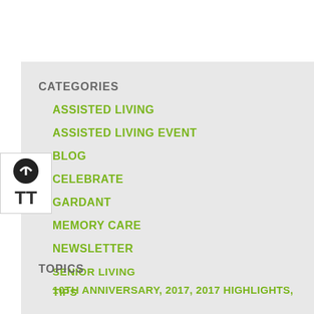CATEGORIES
ASSISTED LIVING
ASSISTED LIVING EVENT
BLOG
CELEBRATE
GARDANT
MEMORY CARE
NEWSLETTER
SENIOR LIVING
TIPS
TOPICS
10TH ANNIVERSARY, 2017, 2017 HIGHLIGHTS,